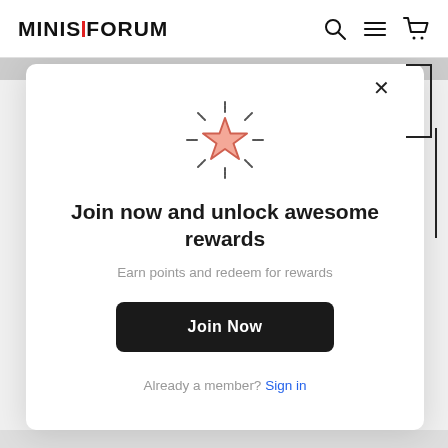MINISFORUM
[Figure (screenshot): Popup modal with a glowing star icon, title 'Join now and unlock awesome rewards', subtitle 'Earn points and redeem for rewards', a 'Join Now' button, and 'Already a member? Sign in' link]
Join now and unlock awesome rewards
Earn points and redeem for rewards
Join Now
Already a member? Sign in